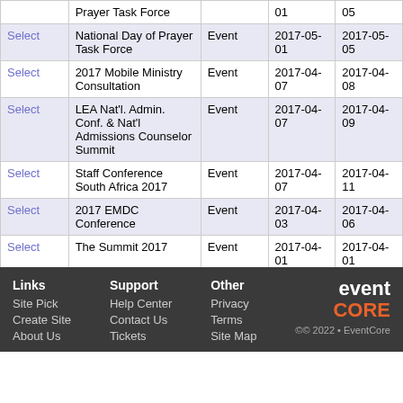| Action | Event Name | Event Type | Start Date | End Date |
| --- | --- | --- | --- | --- |
|  | Prayer Task Force |  | 01 | 05 |
| Select | National Day of Prayer Task Force | Event | 2017-05-01 | 2017-05-05 |
| Select | 2017 Mobile Ministry Consultation | Event | 2017-04-07 | 2017-04-08 |
| Select | LEA Nat'l. Admin. Conf. & Nat'l Admissions Counselor Summit | Event | 2017-04-07 | 2017-04-09 |
| Select | Staff Conference South Africa 2017 | Event | 2017-04-07 | 2017-04-11 |
| Select | 2017 EMDC Conference | Event | 2017-04-03 | 2017-04-06 |
| Select | The Summit 2017 | Event | 2017-04-01 | 2017-04-01 |
Showing 1 to 250 of 575 entries
First Previous 1 2 3 Next Last
Links | Site Pick | Create Site | About Us | Support | Help Center | Contact Us | Tickets | Other | Privacy | Terms | Site Map | ©© 2022 • EventCore